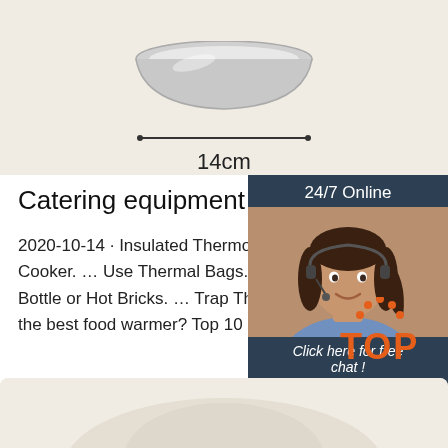[Figure (photo): Product photo of a silver metallic bowl/lid with dimension annotation showing 14cm width, on beige background]
Catering equipment food warm…
2020-10-14 · Insulated Thermos. … T Cooker. … Use Thermal Bags. … Add Bottle or Hot Bricks. … Trap The Stea the best food warmer? Top 10 Best …
[Figure (infographic): 24/7 Online chat widget with photo of woman with headset, 'Click here for free chat!' text, and orange QUOTATION button]
[Figure (logo): Orange TOP logo with dot pattern above the letters T-O-P]
[Figure (photo): Bottom portion of product image on beige background]